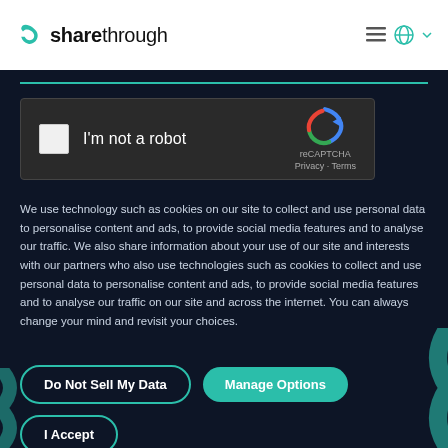sharethrough
[Figure (other): reCAPTCHA widget with checkbox and 'I'm not a robot' text, with reCAPTCHA logo, Privacy and Terms links]
We use technology such as cookies on our site to collect and use personal data to personalise content and ads, to provide social media features and to analyse our traffic. We also share information about your use of our site and interests with our partners who also use technologies such as cookies to collect and use personal data to personalise content and ads, to provide social media features and to analyse our traffic on our site and across the internet. You can always change your mind and revisit your choices.
Do Not Sell My Data
Manage Options
I Accept